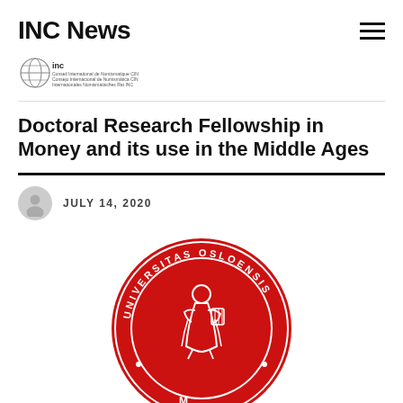INC News
[Figure (logo): INC International Numismatic Council logo with globe icon and multilingual text]
Doctoral Research Fellowship in Money and its use in the Middle Ages
JULY 14, 2020
[Figure (logo): Universitas Osloensis red circular seal with robed figure playing lyre]